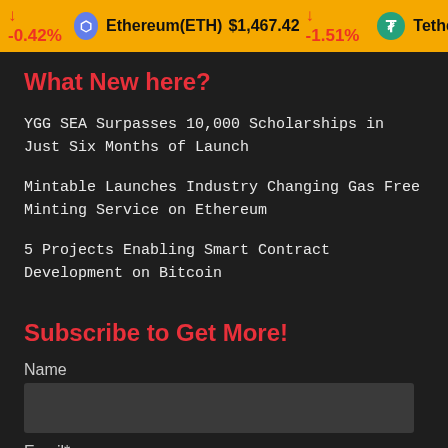↓ -0.42%  Ethereum(ETH)  $1,467.42  ↓ -1.51%  Tether(US
What New here?
YGG SEA Surpasses 10,000 Scholarships in Just Six Months of Launch
Mintable Launches Industry Changing Gas Free Minting Service on Ethereum
5 Projects Enabling Smart Contract Development on Bitcoin
Subscribe to Get More!
Name
Email*